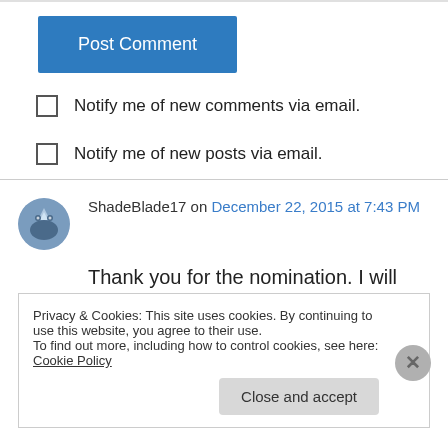[Figure (other): Blue 'Post Comment' button]
Notify me of new comments via email.
Notify me of new posts via email.
ShadeBlade17 on December 22, 2015 at 7:43 PM
Thank you for the nomination. I will make my response post when i get home tomorrow.
Privacy & Cookies: This site uses cookies. By continuing to use this website, you agree to their use.
To find out more, including how to control cookies, see here: Cookie Policy
Close and accept